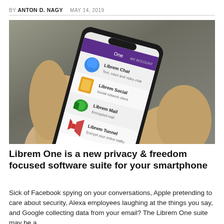BY ANTON D. NAGY   MAY 14, 2019
[Figure (photo): A hand holding a smartphone displaying the Librem One app suite, showing Librem Chat (text, voice and video chat), Librem Social (social network client), Librem Mail (encrypted mail), and Librem Tunnel (encrypt your online traffic).]
Librem One is a new privacy & freedom focused software suite for your smartphone
Sick of Facebook spying on your conversations, Apple pretending to care about security, Alexa employees laughing at the things you say, and Google collecting data from your email? The Librem One suite may be a